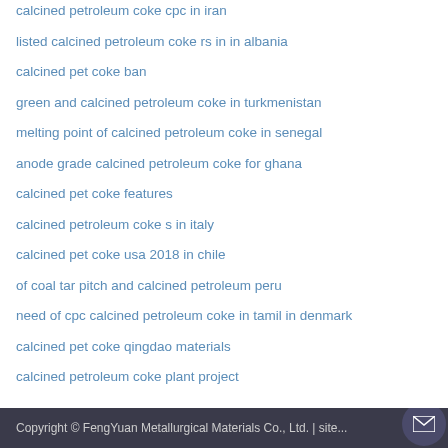calcined petroleum coke cpc in iran
listed calcined petroleum coke rs in in albania
calcined pet coke ban
green and calcined petroleum coke in turkmenistan
melting point of calcined petroleum coke in senegal
anode grade calcined petroleum coke for ghana
calcined pet coke features
calcined petroleum coke s in italy
calcined pet coke usa 2018 in chile
of coal tar pitch and calcined petroleum peru
need of cpc calcined petroleum coke in tamil in denmark
calcined pet coke qingdao materials
calcined petroleum coke plant project
Copyright © FengYuan Metallurgical Materials Co., Ltd. | site...